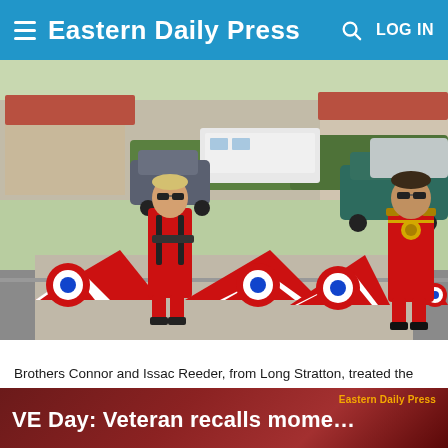Eastern Daily Press   LOG IN
[Figure (photo): Two boys dressed in red Red Arrows pilot costumes with aviator sunglasses, holding large red-and-white wings with RAF roundel markings, standing in a suburban street with parked cars and caravans in background.]
Brothers Connor and Issac Reeder, from Long Stratton, treated the town to its very own Red Arrows flypast on VE Day. Picture: Wendy Omond - Credit: Archant
VE Day: Veteran recalls mome…